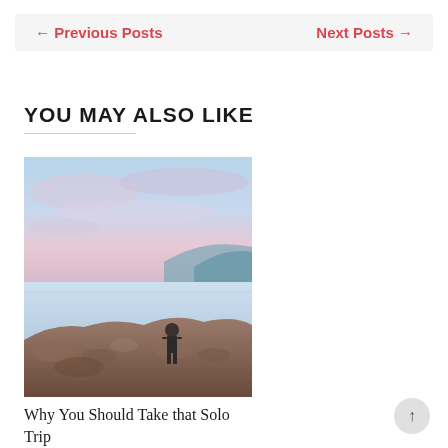← Previous Posts    Next Posts →
YOU MAY ALSO LIKE
[Figure (photo): A person standing on rocky terrain by a calm lake at dusk with soft pink and blue clouds reflected on the water and hills in the background.]
Why You Should Take that Solo Trip